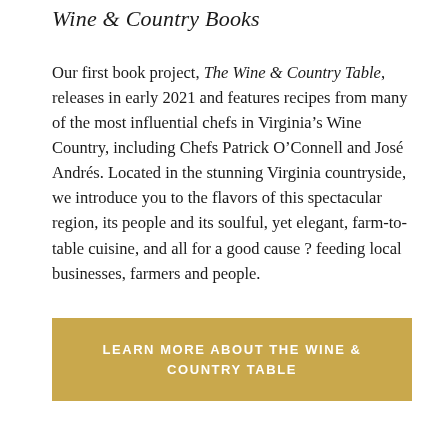Wine & Country Books
Our first book project, The Wine & Country Table, releases in early 2021 and features recipes from many of the most influential chefs in Virginia’s Wine Country, including Chefs Patrick O’Connell and José Andrés. Located in the stunning Virginia countryside, we introduce you to the flavors of this spectacular region, its people and its soulful, yet elegant, farm-to-table cuisine, and all for a good cause ? feeding local businesses, farmers and people.
LEARN MORE ABOUT THE WINE & COUNTRY TABLE